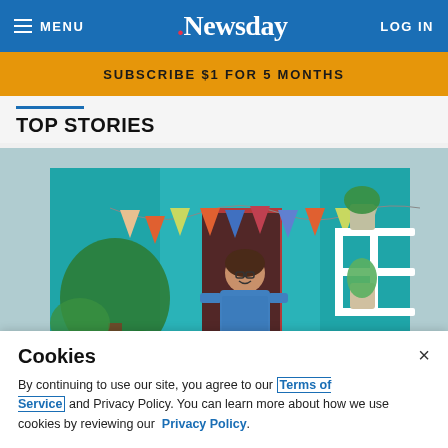MENU | Newsday | LOG IN
SUBSCRIBE $1 FOR 5 MONTHS
TOP STORIES
[Figure (photo): A woman in a blue floral dress stands smiling in the doorway of a shop with teal/turquoise painted exterior, decorative bunting flags hanging above, and potted plants on both sides.]
Cookies
By continuing to use our site, you agree to our Terms of Service and Privacy Policy. You can learn more about how we use cookies by reviewing our Privacy Policy.